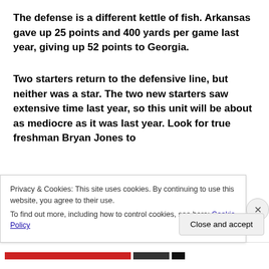The defense is a different kettle of fish. Arkansas gave up 25 points and 400 yards per game last year, giving up 52 points to Georgia.
Two starters return to the defensive line, but neither was a star. The two new starters saw extensive time last year, so this unit will be about as mediocre as it was last year. Look for true freshman Bryan Jones to
Privacy & Cookies: This site uses cookies. By continuing to use this website, you agree to their use.
To find out more, including how to control cookies, see here: Cookie Policy
Close and accept